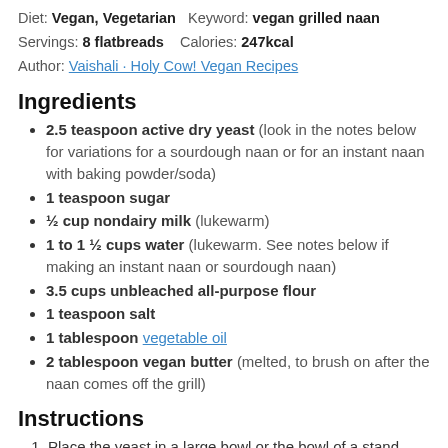Diet: Vegan, Vegetarian   Keyword: vegan grilled naan
Servings: 8 flatbreads   Calories: 247kcal
Author: Vaishali · Holy Cow! Vegan Recipes
Ingredients
2.5 teaspoon active dry yeast (look in the notes below for variations for a sourdough naan or for an instant naan with baking powder/soda)
1 teaspoon sugar
½ cup nondairy milk (lukewarm)
1 to 1 ½ cups water (lukewarm. See notes below if making an instant naan or sourdough naan)
3.5 cups unbleached all-purpose flour
1 teaspoon salt
1 tablespoon vegetable oil
2 tablespoon vegan butter (melted, to brush on after the naan comes off the grill)
Instructions
Place the yeast in a large bowl or the bowl of a stand mixer. Add the sugar, nondairy milk, and ½ cup water. Let the yeast